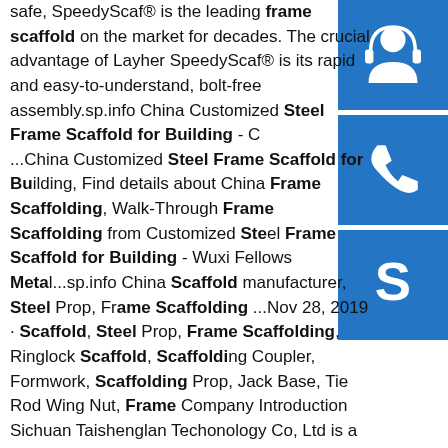safe, SpeedyScaf® is the leading frame scaffold on the market for decades. The crucial advantage of Layher SpeedyScaf® is its rapid and easy-to-understand, bolt-free assembly.sp.info China Customized Steel Frame Scaffold for Building - ...China Customized Steel Frame Scaffold for Building, Find details about China Frame Scaffolding, Walk-Through Frame Scaffolding from Customized Steel Frame Scaffold for Building - Wuxi Fellows Meta...sp.info China Scaffold manufacturer, Steel Prop, Frame Scaffolding ...Nov 28, 2019 · Scaffold, Steel Prop, Frame Scaffolding, Ringlock Scaffold, Scaffolding Coupler, Formwork, Scaffolding Prop, Jack Base, Tie Rod Wing Nut, Frame Company Introduction Sichuan Taishenglan Techonology Co, Ltd is a enterprise which integrates the manufacture and sales construction materails, Service first and customer first as the business philosophy.sp.info A Guide to Scaffold Use in the Construction Industry ...These guidelines and tables
[Figure (infographic): Three blue square icons stacked vertically on the right side: a customer service/headset icon, a phone/call icon, and a Skype icon]